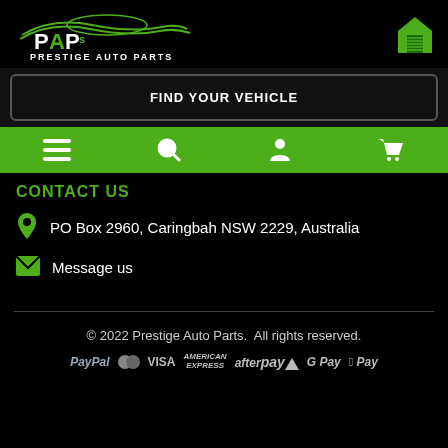[Figure (logo): Prestige Auto Parts logo - white PAPs text with green car silhouette on black background]
FIND YOUR VEHICLE
[Figure (infographic): Green navigation bar with menu, search, account, and cart icons]
CONTACT US
PO Box 2960, Caringbah NSW 2229, Australia
Message us
© 2022 Prestige Auto Parts.  All rights reserved.
[Figure (infographic): Payment method logos: PayPal, Mastercard, Visa, American Express, Afterpay, G Pay, Apple Pay]